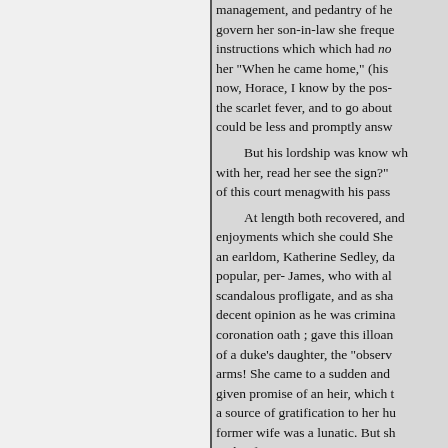management, and pedantry of he govern her son-in-law she freque instructions which which had no her "When he came home," (his now, Horace, I know by the pos- the scarlet fever, and to go about could be less and promptly answ

But his lordship was know wh with her, read her see the sign?" of this court menagwith his pass

At length both recovered, and enjoyments which she could She an earldom, Katherine Sedley, da popular, per- James, who with al scandalous profligate, and as sha decent opinion as he was crimina coronation oath ; gave this illoan of a duke's daughter, the "observ arms! She came to a sudden and given promise of an heir, which t a source of gratification to her hu former wife was a lunatic. But sh with a fever. One evening, gr